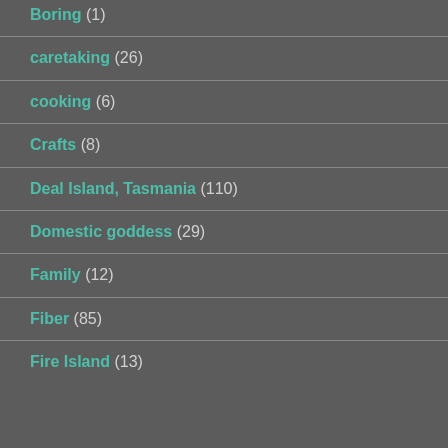Boring (1)
caretaking (26)
cooking (6)
Crafts (8)
Deal Island, Tasmania (110)
Domestic goddess (29)
Family (12)
Fiber (85)
Fire Island (13)